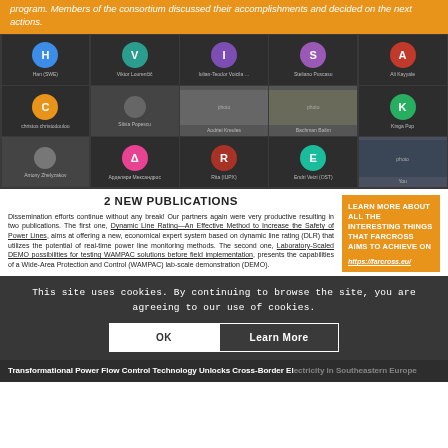program. Members of the consortium discussed their accomplishments and decided on the next actions.
[Figure (screenshot): Video conference grid showing multiple participants including Han (SWE), Viktor Lourenčič, Iulian-Teodor Voicila, Steliano Puscasu, Ali Kayyale, christos christodoulou, Silvia Popescu, (photo of man), (photo of man), Kinga Pop, Antony Zhelyzakov, Арделяри Мександрос, Rita (IUPX), Endri Veizi (OST), You (photo of woman)]
2 NEW PUBLICATIONS
Dissemination efforts continue without any break! Our partners again were very productive resulting in two publications. The first one, Dynamic Line Rating—An Effective Method to Increase the Safety of Power Lines, aims at offering a new, economical expert system based on dynamic line rating (DLR) that utilizes the potential of real-time power line monitoring methods. The second one, Laboratory-Scaled DEMO possibilities for testing WAMPAC solutions before field implementation, presents the capabilities of a Wide-Area Protection and Control (WAMPAC) lab-scale demonstration (DEMO).
LEARN MORE ABOUT ALL THE INTERESTING THINGS THAT FARCROSS AIMS TO ACHIEVE ON https://farcross.eu/
This site uses cookies. By continuing to browse the site, you are agreeing to our use of cookies.
Transformational Power Flow Control Technology Unlocks Cross-Border Electricity in Southeastern Europe